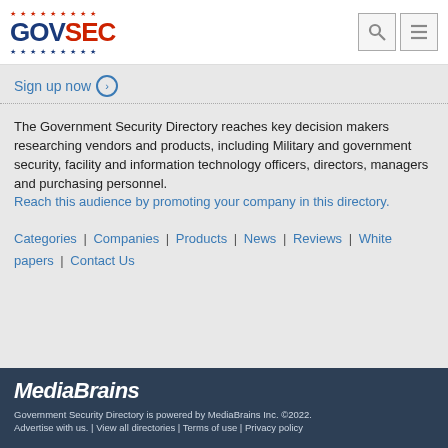GOVSEC
Sign up now
The Government Security Directory reaches key decision makers researching vendors and products, including Military and government security, facility and information technology officers, directors, managers and purchasing personnel. Reach this audience by promoting your company in this directory.
Categories | Companies | Products | News | Reviews | White papers | Contact Us
MediaBrains
Government Security Directory is powered by MediaBrains Inc. ©2022.
Advertise with us. | View all directories | Terms of use | Privacy policy